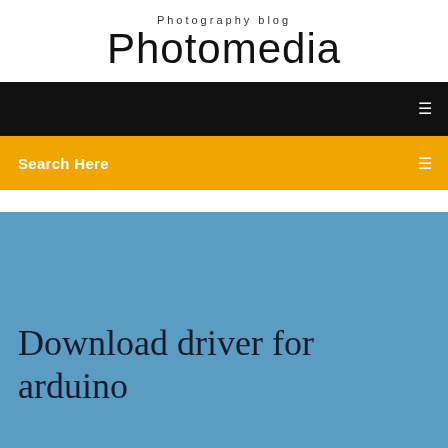Photography blog
Photomedia
[Figure (screenshot): Black navigation bar with white hamburger/menu icon on right]
[Figure (screenshot): Yellow/amber search bar with 'Search Here' text in white on left and white search icon on right]
Download driver for arduino